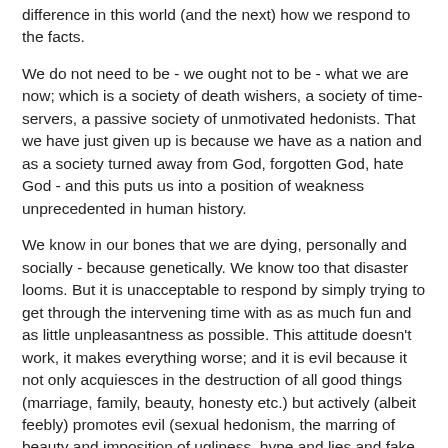difference in this world (and the next) how we respond to the facts.
We do not need to be - we ought not to be - what we are now; which is a society of death wishers, a society of time-servers, a passive society of unmotivated hedonists. That we have just given up is because we have as a nation and as a society turned away from God, forgotten God, hate God - and this puts us into a position of weakness unprecedented in human history.
We know in our bones that we are dying, personally and socially - because genetically. We know too that disaster looms. But it is unacceptable to respond by simply trying to get through the intervening time with as as much fun and as little unpleasantness as possible. This attitude doesn't work, it makes everything worse; and it is evil because it not only acquiesces in the destruction of all good things (marriage, family, beauty, honesty etc.) but actively (albeit feebly) promotes evil (sexual hedonism, the marring of beauty and imposition of ugliness, hype and lies and fake denial).